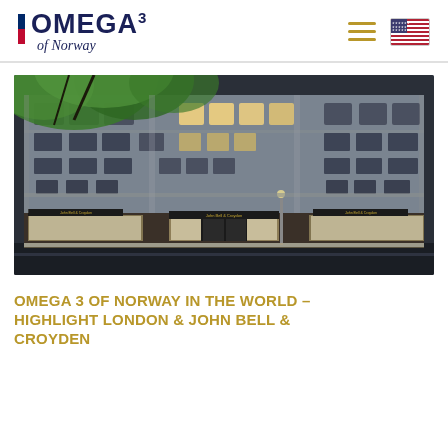OMEGA3 of Norway
[Figure (photo): Night photograph of a grand stone building facade with illuminated shop windows at street level, showing John Bell & Croyden store with decorative window displays, tree branches with green leaves visible in upper left]
OMEGA 3 OF NORWAY IN THE WORLD – HIGHLIGHT LONDON & JOHN BELL & CROYDEN